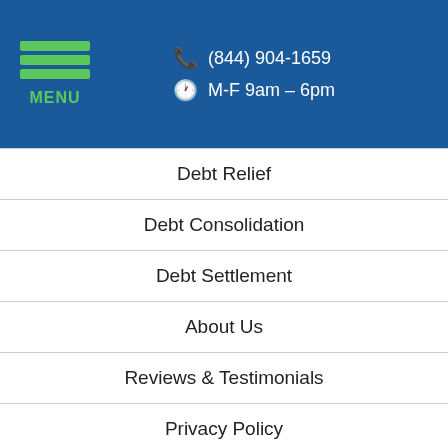MENU | (844) 904-1659 | M-F 9am – 6pm
Debt Relief
Debt Consolidation
Debt Settlement
About Us
Reviews & Testimonials
Privacy Policy
Terms of Service
AFCC Disclosure
Contact Us